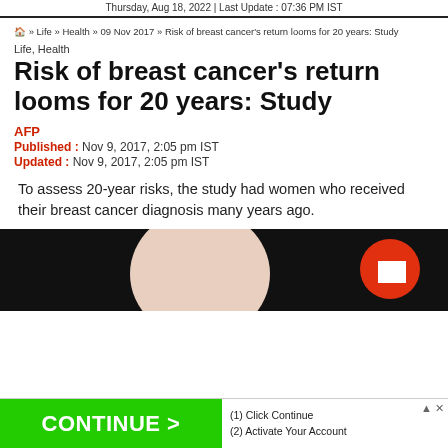Thursday, Aug 18, 2022 | Last Update : 07:36 PM IST
🏠 » Life » Health » 09 Nov 2017 » Risk of breast cancer's return looms for 20 years: Study
Life, Health
Risk of breast cancer's return looms for 20 years: Study
AFP
Published : Nov 9, 2017, 2:05 pm IST
Updated : Nov 9, 2017, 2:05 pm IST
To assess 20-year risks, the study had women who received their breast cancer diagnosis many years ago.
[Figure (photo): Dark background with a light peach-colored oval/head shape and a red circle with a white square (play button) in the lower right — article thumbnail image]
(1) Click Continue (2) Activate Your Account